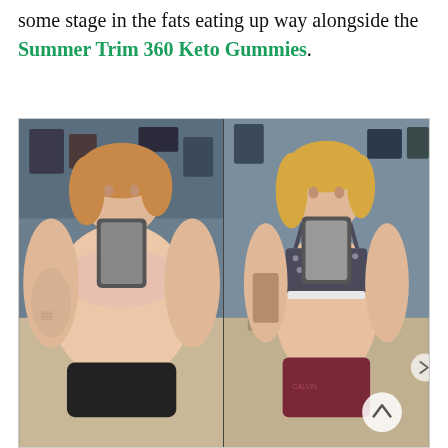some stage in the fats eating up way alongside the Summer Trim 360 Keto Gummies.
[Figure (photo): Before and after weight loss comparison photo. Left side shows a plus-size woman taking a mirror selfie in black underwear. Right side shows the same or similar woman after weight loss, visibly slimmer, wearing a patterned crop top and dark red underwear, with tattoos visible on her arm.]